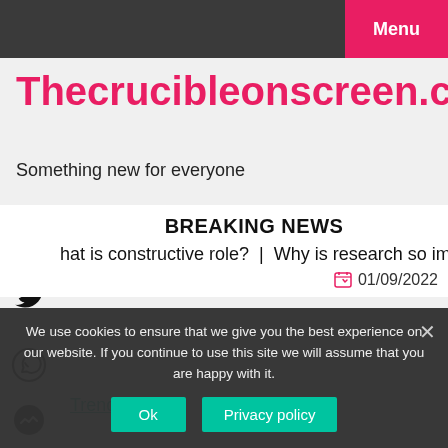Menu
Thecrucibleonscreen.com
Something new for everyone
BREAKING NEWS
hat is constructive role?  |  Why is research so important?  |
01/09/2022
Trending
We use cookies to ensure that we give you the best experience on our website. If you continue to use this site we will assume that you are happy with it.